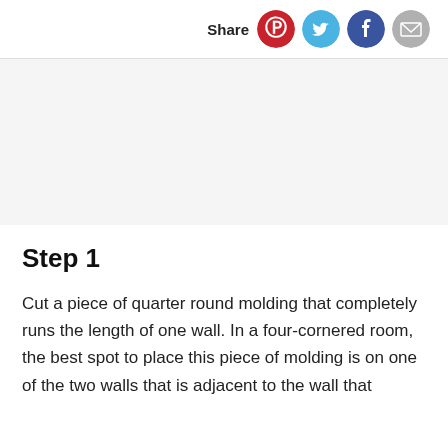Share
[Figure (other): Advertisement / placeholder area with light gray background]
Step 1
Cut a piece of quarter round molding that completely runs the length of one wall. In a four-cornered room, the best spot to place this piece of molding is on one of the two walls that is adjacent to the wall that